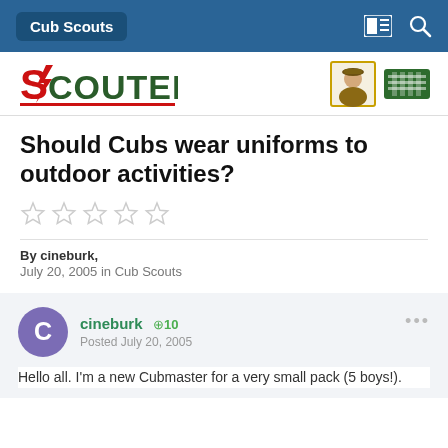Cub Scouts
[Figure (logo): Scouter logo on left, scout illustration and badge/emblem on right]
Should Cubs wear uniforms to outdoor activities?
[Figure (other): Five empty star rating icons]
By cineburk,
July 20, 2005 in Cub Scouts
cineburk +10 Posted July 20, 2005
Hello all. I'm a new Cubmaster for a very small pack (5 boys!).